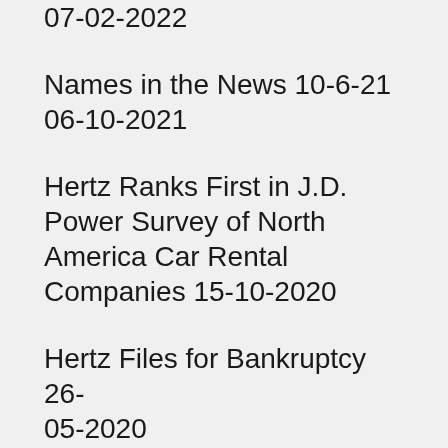07-02-2022
Names in the News 10-6-21 06-10-2021
Hertz Ranks First in J.D. Power Survey of North America Car Rental Companies 15-10-2020
Hertz Files for Bankruptcy 26-05-2020
Names in the News 5-20-20 20-05-2020